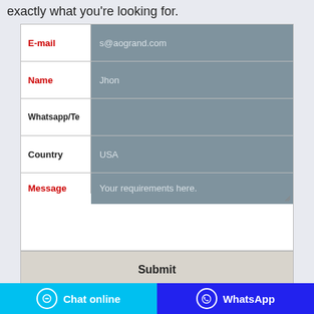exactly what you're looking for.
[Figure (screenshot): A web contact form with fields: E-mail (placeholder: s@aogrand.com), Name (placeholder: Jhon), Whatsapp/Te (label truncated), Country (placeholder: USA), Message (placeholder: Your requirements here.), and a Submit button. Fields have a blue-grey background input area and white label area.]
Chat online
WhatsApp